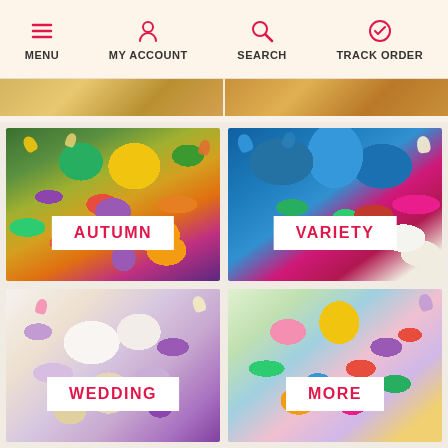MENU | MY ACCOUNT | SEARCH | TRACK ORDER
[Figure (photo): Autumn flower bouquet with sunflowers, purple roses, yellow roses, green chrysanthemums, and red berries. White label overlay reads AUTUMN.]
[Figure (photo): Variety flower bouquet with blue hydrangeas, pink peonies, and white roses. White label overlay reads VARIETY.]
[Figure (photo): Wedding flower arrangement with white lilies, purple flowers, and baby's breath. White label overlay reads WEDDING.]
[Figure (photo): Colorful spring flower arrangement with mixed pink, yellow, purple, and blue flowers. White label overlay reads MORE.]